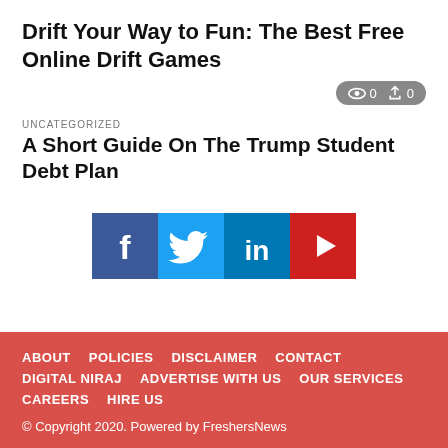Drift Your Way to Fun: The Best Free Online Drift Games
[Figure (infographic): Stats pill showing eye icon 0 and share icon 0]
UNCATEGORIZED
A Short Guide On The Trump Student Debt Plan
[Figure (infographic): Social media icons: Facebook, Twitter, LinkedIn, YouTube]
ABOUT   POLICIES   DISCLAIMER   CONTACT   DIGITAL NIRAJ   ADVERTISE WITH US   OUR SERVICES   CAREERS   HIRE US
© Copyright 2020. Powered by FreshersNews